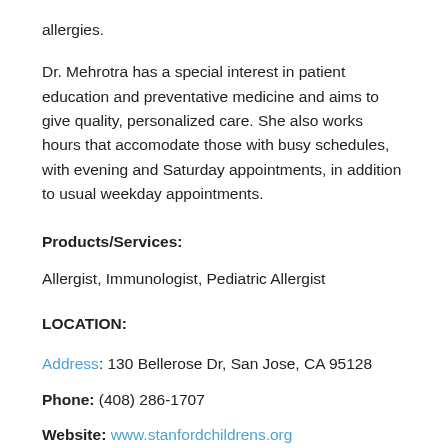allergies.
Dr. Mehrotra has a special interest in patient education and preventative medicine and aims to give quality, personalized care. She also works hours that accomodate those with busy schedules, with evening and Saturday appointments, in addition to usual weekday appointments.
Products/Services:
Allergist, Immunologist, Pediatric Allergist
LOCATION:
Address: 130 Bellerose Dr, San Jose, CA 95128
Phone: (408) 286-1707
Website: www.stanfordchildrens.org